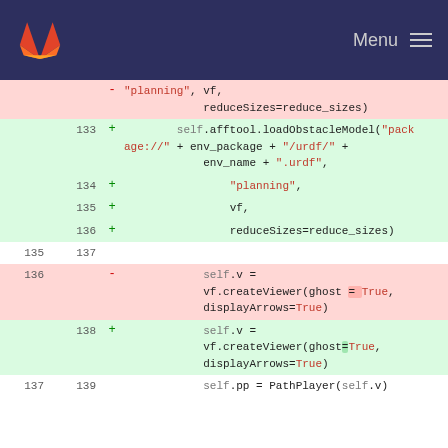GitLab header with logo and Menu
[Figure (screenshot): Git diff view showing code changes to a Python file. Lines 133-139 showing changes to loadObstacleModel call and createViewer call, with removed lines highlighted in red and added lines in green.]